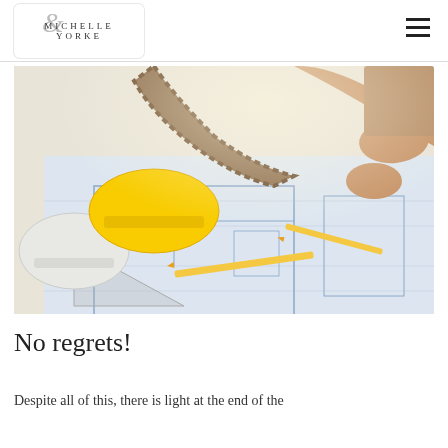MICHELLE YORKE
[Figure (photo): A construction worker or architect leaning over a table with architectural blueprints, holding a pencil. A yellow hard hat and a white hard hat are on the table beside the plans. Two pencils rest on the blueprints.]
No regrets!
Despite all of this, there is light at the end of the